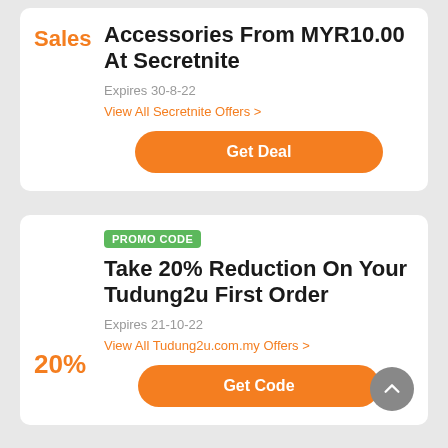Accessories From MYR10.00 At Secretnite
Sales
Expires 30-8-22
View All Secretnite Offers >
Get Deal
PROMO CODE
Take 20% Reduction On Your Tudung2u First Order
20%
Expires 21-10-22
View All Tudung2u.com.my Offers >
Get Code